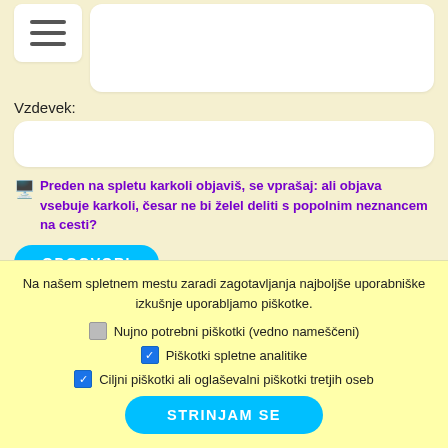[Figure (screenshot): Hamburger menu icon (three horizontal lines) in a white rounded box]
[Figure (screenshot): Large text input area (white rounded rectangle)]
Vzdevek:
[Figure (screenshot): Small text input field for Vzdevek (white rounded rectangle)]
Preden na spletu karkoli objaviš, se vprašaj: ali objava vsebuje karkoli, česar ne bi želel deliti s popolnim neznancem na cesti?
[Figure (screenshot): Blue ODGOVORI button (rounded)]
Na našem spletnem mestu zaradi zagotavljanja najboljše uporabniške izkušnje uporabljamo piškotke.
Nujno potrebni piškotki (vedno nameščeni)
Piškotki spletne analitike
Ciljni piškotki ali oglaševalni piškotki tretjih oseb
[Figure (screenshot): Blue STRINJAM SE button (rounded)]